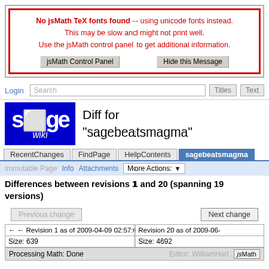No jsMath TeX fonts found -- using unicode fonts instead. This may be slow and might not print well. Use the jsMath control panel to get additional information.
Login
Search
[Figure (logo): Sage wiki logo - blue background with SAGE text and wiki in italic]
Diff for "sagebeatsmagma"
RecentChanges | FindPage | HelpContents | sagebeatsmagma
Immutable Page  Info  Attachments  More Actions:
Differences between revisions 1 and 20 (spanning 19 versions)
Previous change
Next change
← ← Revision 1 as of 2009-04-09 02:57:00  Revision 20 as of 2009-06-
Size: 639
Size: 4692
Processing Math: Done
Editor: WilliamHart